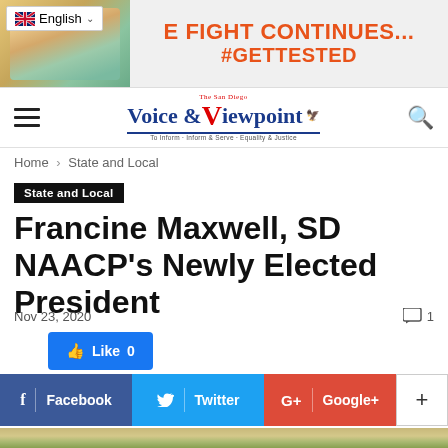[Figure (screenshot): Ad banner with photo of couple and text 'E FIGHT CONTINUES... #GETTESTED' in orange, with English language selector dropdown overlay]
[Figure (logo): Voice & Viewpoint newspaper logo with hamburger menu and search icon in navigation bar]
Home › State and Local
State and Local
Francine Maxwell, SD NAACP's Newly Elected President
Nov 23, 2020
[Figure (screenshot): Facebook Like button (blue) showing 0 likes, and social share buttons for Facebook, Twitter, Google+, and a plus button]
[Figure (photo): Partial photo visible at bottom of page, appears to be an outdoor scene with bokeh/foliage background]